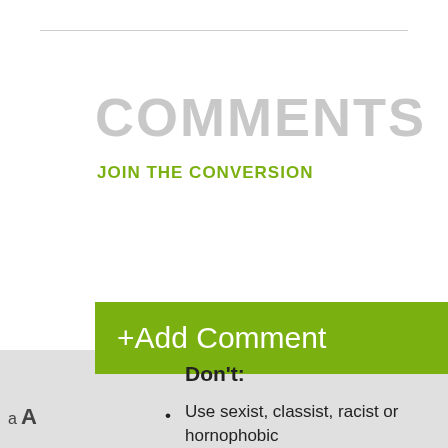COMMENTS
JOIN THE CONVERSION
+Add Comment
Don't:
Use sexist, classist, racist or hornophobic language